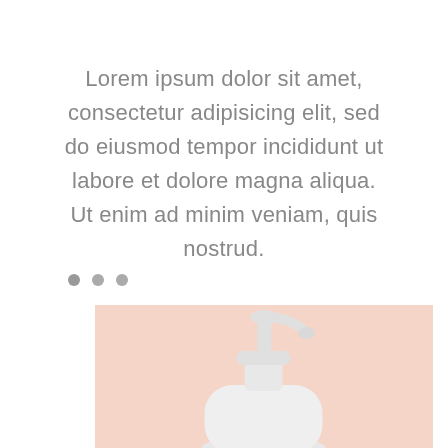Lorem ipsum dolor sit amet, consectetur adipisicing elit, sed do eiusmod tempor incididunt ut labore et dolore magna aliqua. Ut enim ad minim veniam, quis nostrud.
[Figure (other): Three small grey dots in a row, resembling a pagination or loading indicator]
[Figure (photo): A white pump-top soap or lotion dispenser bottle on a pastel pink/peach background, viewed from slightly above, showing the pump head and upper portion of the bottle]